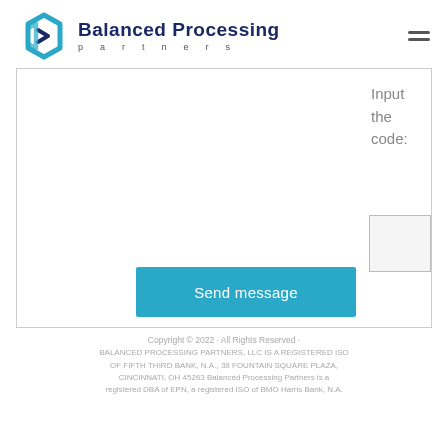[Figure (logo): Balanced Processing Partners logo with blue hexagon icon and dark blue text]
[Figure (screenshot): Web form section with 'Input the code:' CAPTCHA label, a CAPTCHA image box, and a 'Send message' button]
Copyright © 2022 · All Rights Reserved · BALANCED PROCESSING PARTNERS, LLC IS A REGISTERED ISO OF FIFTH THIRD BANK, N.A., 38 FOUNTAIN SQUARE PLAZA, CINCINNATI, OH 45263 Balanced Processing Partners is a registered DBA of EPN, a registered ISO of BMO Harris Bank, N.A.